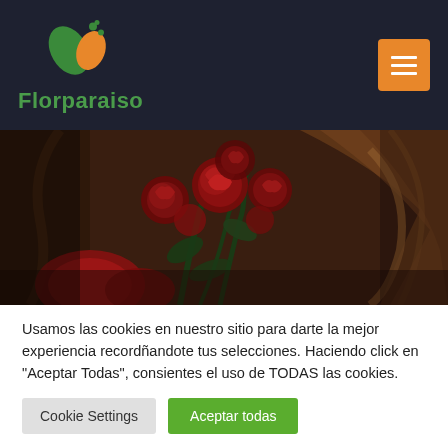[Figure (logo): Florparaiso logo with green and orange leaf/dot icon and green text 'Florparaiso' on dark navy background, with orange hamburger menu button top right]
[Figure (photo): Photo of red roses and flowers arrangement in front of ornate wooden/bronze decorative background]
Usamos las cookies en nuestro sitio para darte la mejor experiencia recordñandote tus selecciones. Haciendo click en "Aceptar Todas", consientes el uso de TODAS las cookies.
Cookie Settings
Aceptar todas